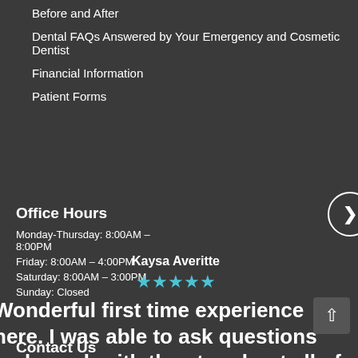Before and After
Dental FAQs Answered by Your Emergency and Cosmetic Dentist
Financial Information
Patient Forms
Office Hours
Monday-Thursday: 8:00AM – 8:00PM
Friday: 8:00AM – 4:00PM
Saturday: 8:00AM – 3:00PM
Sunday: Closed
Kaysa Averitte
★★★★★
Wonderful first time experience here. I was able to ask questions and speak with the ctor about all of my concerns. I was referred
Read more
Contact Us